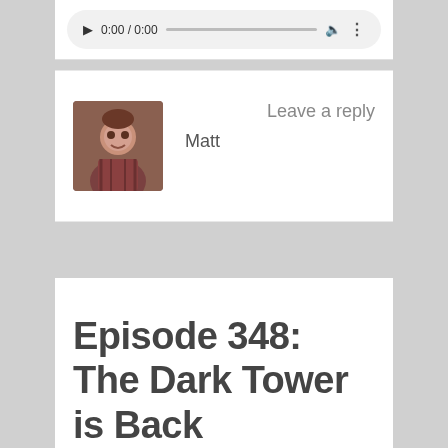[Figure (screenshot): Audio player bar showing play button, time 0:00 / 0:00, progress bar, volume icon, and more options icon]
[Figure (photo): Small avatar photo of a smiling person wearing a plaid shirt]
Matt
Leave a reply
Episode 348: The Dark Tower is Back